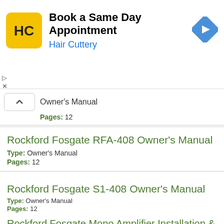[Figure (illustration): Hair Cuttery advertisement banner with logo, text 'Book a Same Day Appointment' and 'Hair Cuttery', and a navigation arrow icon]
Owner's Manual
Pages: 12
Rockford Fosgate RFA-408 Owner's Manual
Type: Owner's Manual
Pages: 12
Rockford Fosgate S1-408 Owner's Manual
Type: Owner's Manual
Pages: 12
Rockford Fosgate Mono Amplifier Installation &